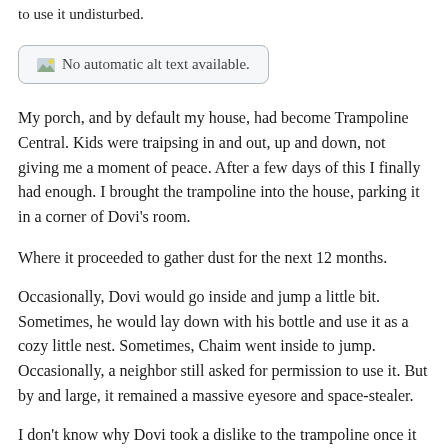to use it undisturbed.
[Figure (screenshot): Broken image placeholder with text 'No automatic alt text available.']
My porch, and by default my house, had become Trampoline Central. Kids were traipsing in and out, up and down, not giving me a moment of peace. After a few days of this I finally had enough. I brought the trampoline into the house, parking it in a corner of Dovi's room.
Where it proceeded to gather dust for the next 12 months.
Occasionally, Dovi would go inside and jump a little bit. Sometimes, he would lay down with his bottle and use it as a cozy little nest. Sometimes, Chaim went inside to jump. Occasionally, a neighbor still asked for permission to use it. But by and large, it remained a massive eyesore and space-stealer.
I don't know why Dovi took a dislike to the trampoline once it